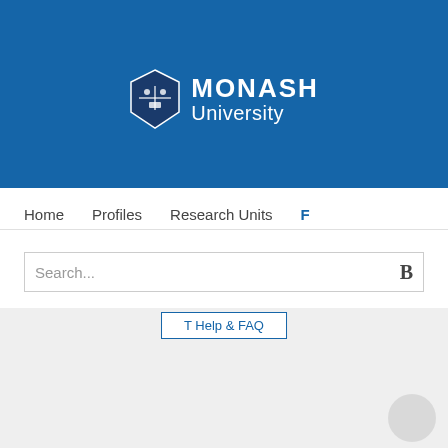[Figure (logo): Monash University logo with shield emblem and text 'MONASH University' in white on blue background]
T Help & FAQ
Home   Profiles   Research Units   F
Search...
Synthesis and characterisation of mononuclear and dinuclear iron (III) Complexes of 1,4,7 - Triazacyclononane - N - Acetate(L). Crystal structures of [FeCl2L[ and [Fe2(m - O) (m - O2CMe)L 2]ClO4